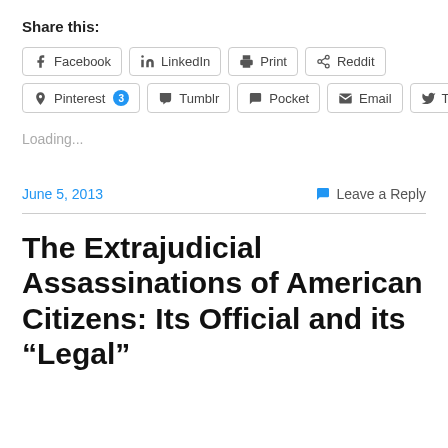Share this:
Facebook  LinkedIn  Print  Reddit  Pinterest 3  Tumblr  Pocket  Email  Twitter
Loading...
June 5, 2013
Leave a Reply
The Extrajudicial Assassinations of American Citizens: Its Official and its “Legal”